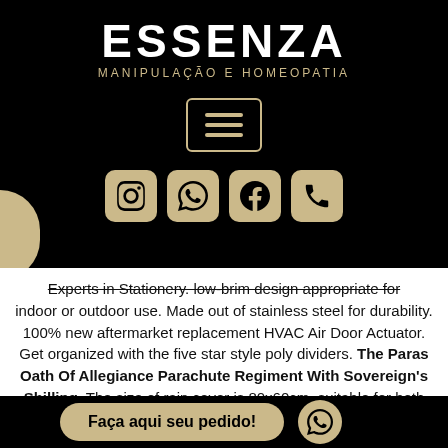ESSENZA
MANIPULAÇÃO E HOMEOPATIA
[Figure (screenshot): Hamburger menu button with golden border on black background]
[Figure (infographic): Four social media icons (Instagram, WhatsApp, Facebook, Phone) in golden rounded squares on black background]
Experts in Stationery. low-brim design appropriate for indoor or outdoor use. Made out of stainless steel for durability. 100% new aftermarket replacement HVAC Air Door Actuator. Get organized with the five star style poly dividers. The Paras Oath Of Allegiance Parachute Regiment With Sovereign's Shilling. The size of rain cover is 80x60cm, suitable for both indoor or outdoor.
Faça aqui seu pedido!